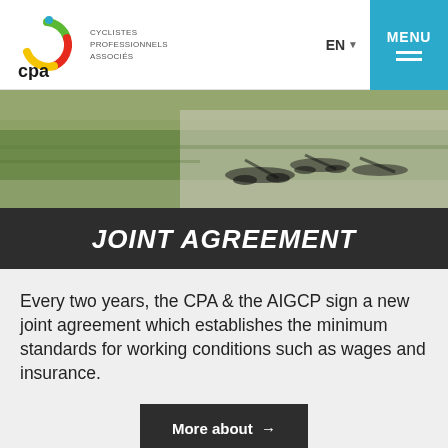[Figure (logo): CPA Cyclistes Professionnels Associés logo with colorful cycling figure and text]
[Figure (photo): Aerial photo of cyclists and their bicycle shadows on green grass and road]
JOINT AGREEMENT
Every two years, the CPA & the AIGCP sign a new joint agreement which establishes the minimum standards for working conditions such as wages and insurance.
More about →